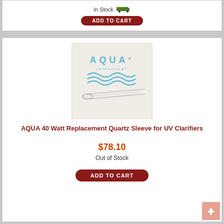In Stock
ADD TO CART
[Figure (photo): AQUA Ultraviolet branded quartz sleeve tube product photo on light background with AQUA logo in blue]
AQUA 40 Watt Replacement Quartz Sleeve for UV Clarifiers
$78.10
Out of Stock
ADD TO CART